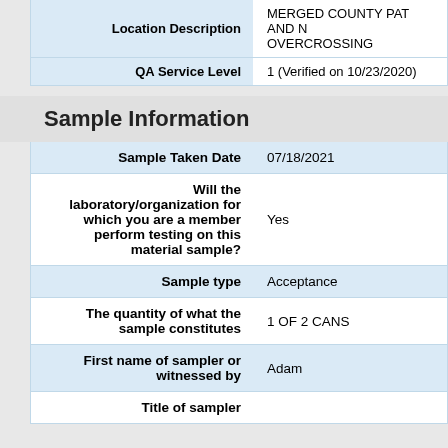| Field | Value |
| --- | --- |
| Location Description | MERGED COUNTY PAT AND N OVERCROSSING |
| QA Service Level | 1 (Verified on 10/23/2020) |
Sample Information
| Field | Value |
| --- | --- |
| Sample Taken Date | 07/18/2021 |
| Will the laboratory/organization for which you are a member perform testing on this material sample? | Yes |
| Sample type | Acceptance |
| The quantity of what the sample constitutes | 1 OF 2 CANS |
| First name of sampler or witnessed by | Adam |
| Title of sampler |  |